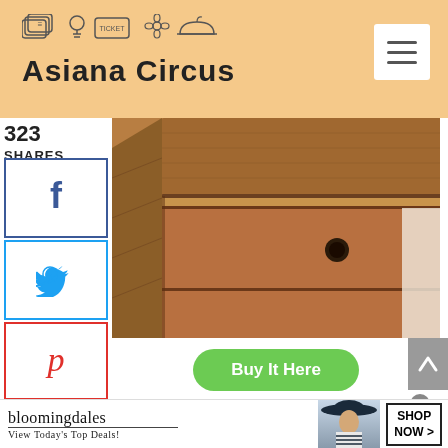[Figure (logo): Asiana Circus website header with logo featuring icons (building, lightbulb, ticket, flower, bowl) and text 'Asiana Circus', orange/peach background, hamburger menu button]
323
SHARES
[Figure (illustration): Facebook share button with 'f' icon, blue border]
[Figure (illustration): Twitter share button with bird icon, blue border]
[Figure (illustration): Pinterest share button with 'p' icon, red border]
[Figure (illustration): Email share button with envelope icon, green border]
[Figure (photo): Close-up photo of a wooden drawer/storage box with dark knob handle, brown wood grain texture]
[Figure (illustration): Green 'Buy It Here' rounded button]
[Figure (screenshot): Bloomingdale's advertisement banner: logo, 'View Today's Top Deals!', model in hat, 'SHOP NOW >' button]